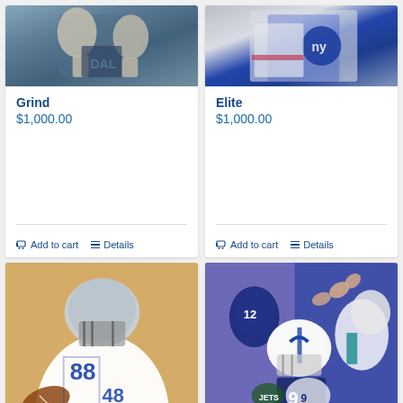[Figure (photo): Football player in dark uniform, close-up, Cowboys-style, labeled Grind product image]
Grind
$1,000.00
Add to cart
Details
[Figure (photo): Football player in New York Giants uniform, close-up, labeled Elite product image]
Elite
$1,000.00
Add to cart
Details
[Figure (photo): Dallas Cowboys player number 88/48 in white uniform with blue helmet carrying football, painted illustration style]
[Figure (photo): Football players including number 12 and number 9 in Colts uniform, colorful painted illustration style]